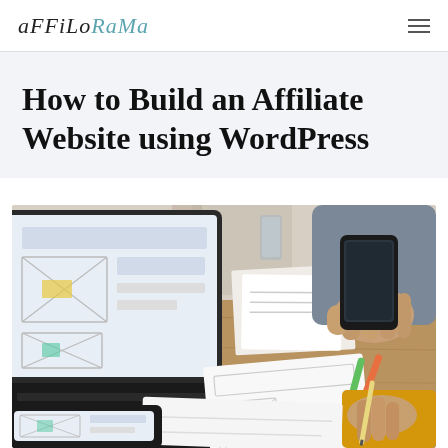AFFILORAMA
How to Build an Affiliate Website using WordPress
[Figure (photo): A desk scene with a laptop displaying wireframe UI sketches, a person holding a smartphone, papers with wireframe sketches scattered on the desk, markers, a pen, and another person's hand in a yellow sleeve writing on paper.]